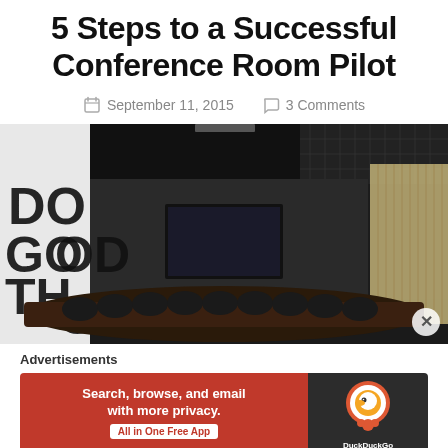5 Steps to a Successful Conference Room Pilot
September 11, 2015   3 Comments
[Figure (photo): Modern conference room with dark ceiling, long table with black chairs, a large screen at the far end, windows with blinds on the right, and 'DO GOOD THINGS' text on the left wall.]
Advertisements
[Figure (screenshot): DuckDuckGo advertisement banner: orange section on left reads 'Search, browse, and email with more privacy. All in One Free App', dark section on right shows DuckDuckGo logo.]